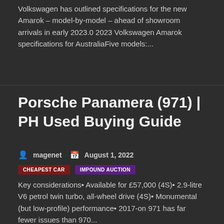Volkswagen has outlined specifications for the new Amarok – model-by-model – ahead of showroom arrivals in early 2023.0 2023 Volkswagen Amarok specifications for AustraliaFive models:...
Porsche Panamera (971) | PH Used Buying Guide
magenet   August 1, 2022
CHEAPEST CAR   IMPOUND AUCTION
Key considerations• Available for £57,000 (4S)• 2.9-litre V6 petrol twin turbo, all-wheel drive (4S)• Monumental (but low-profile) performance• 2017-on 971 has far fewer issues than 970...